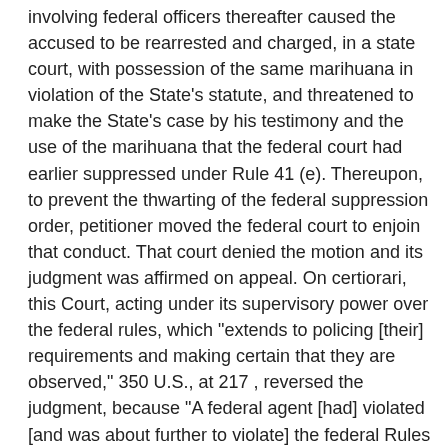involving federal officers thereafter caused the accused to be rearrested and charged, in a state court, with possession of the same marihuana in violation of the State's statute, and threatened to make the State's case by his testimony and the use of the marihuana that the federal court had earlier suppressed under Rule 41 (e). Thereupon, to prevent the thwarting of the federal suppression order, petitioner moved the federal court to enjoin that conduct. That court denied the motion and its judgment was affirmed on appeal. On certiorari, this Court, acting under its supervisory power over the federal rules, which "extends to policing [their] requirements and making certain that they are observed," 350 U.S., at 217 , reversed the judgment, because "A federal agent [had] violated [and was about further to violate] the federal Rules governing searches and seizures - Rules prescribed by this Court and made effective after submission to the Congress. See 327 U.S. 821 et seq." 350 U.S., at 217 .